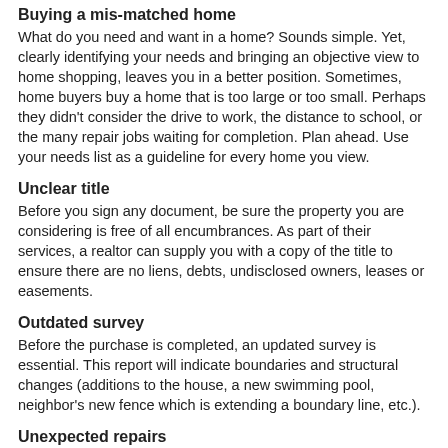Buying a mis-matched home
What do you need and want in a home? Sounds simple. Yet, clearly identifying your needs and bringing an objective view to home shopping, leaves you in a better position. Sometimes, home buyers buy a home that is too large or too small. Perhaps they didn't consider the drive to work, the distance to school, or the many repair jobs waiting for completion. Plan ahead. Use your needs list as a guideline for every home you view.
Unclear title
Before you sign any document, be sure the property you are considering is free of all encumbrances. As part of their services, a realtor can supply you with a copy of the title to ensure there are no liens, debts, undisclosed owners, leases or easements.
Outdated survey
Before the purchase is completed, an updated survey is essential. This report will indicate boundaries and structural changes (additions to the house, a new swimming pool, neighbor's new fence which is extending a boundary line, etc.).
Unexpected repairs
For $300 - $500 a professional inspector will conduct a thorough inspection of the home. This way, you'll have an idea of the cost